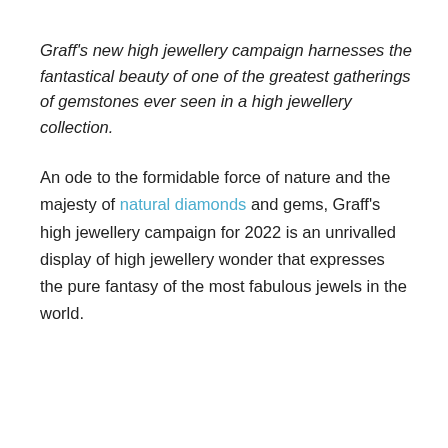Graff's new high jewellery campaign harnesses the fantastical beauty of one of the greatest gatherings of gemstones ever seen in a high jewellery collection.
An ode to the formidable force of nature and the majesty of natural diamonds and gems, Graff's high jewellery campaign for 2022 is an unrivalled display of high jewellery wonder that expresses the pure fantasy of the most fabulous jewels in the world.